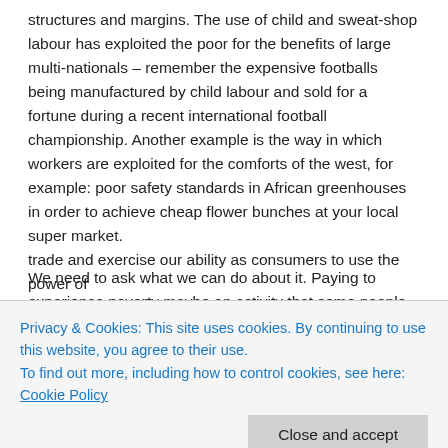structures and margins. The use of child and sweat-shop labour has exploited the poor for the benefits of large multi-nationals – remember the expensive footballs being manufactured by child labour and sold for a fortune during a recent international football championship. Another example is the way in which workers are exploited for the comforts of the west, for example: poor safety standards in African greenhouses in order to achieve cheap flower bunches at your local super market.
We need to ask what we can do about it. Paying to experience poverty maybe an activity that some people feel happy to indulge in. It could be their way of gaining a sense of empathy. Sympathy with the world poverty situation is only a start. Instead, and I've said this before, we need to collectively campaign for the removal of debt, use technology to predict weather disasters, establish a think tank to redevelop economies, suggest the
trade and exercise our ability as consumers to use the power of
Privacy & Cookies: This site uses cookies. By continuing to use this website, you agree to their use.
To find out more, including how to control cookies, see here: Cookie Policy